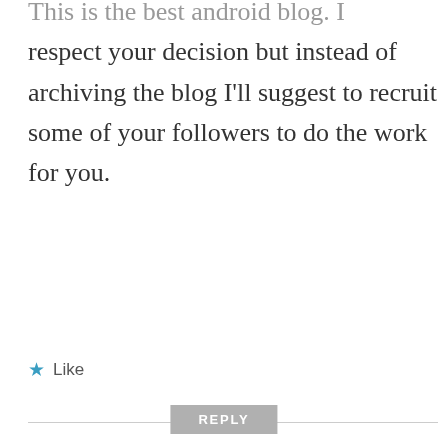This is the best android blog. I respect your decision but instead of archiving the blog I'll suggest to recruit some of your followers to do the work for you.
★ Like
REPLY
Hindol Saha
JUNE 20, 2015 AT 4:33 PM
[Figure (photo): Circular avatar photo of Hindol Saha showing a person leaning on a car outdoors]
please dont do this MR. Gaurav Shukla...this is the best android blog i have ever seen this is my daily blog please